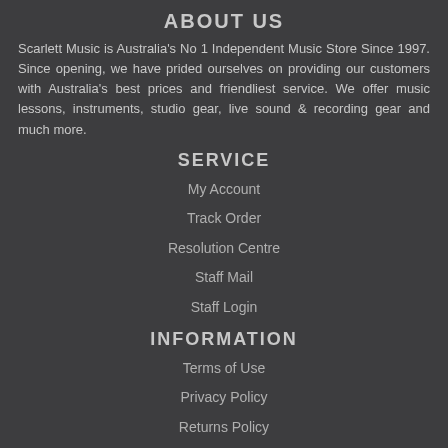ABOUT US
Scarlett Music is Australia's No 1 Independent Music Store Since 1997. Since opening, we have prided ourselves on providing our customers with Australia's best prices and friendliest service. We offer music lessons, instruments, studio gear, live sound & recording gear and much more.
SERVICE
My Account
Track Order
Resolution Centre
Staff Mail
Staff Login
INFORMATION
Terms of Use
Privacy Policy
Returns Policy